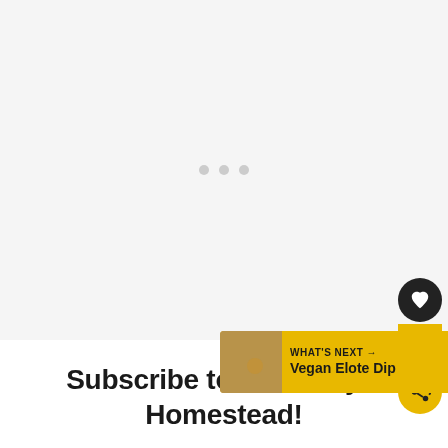[Figure (other): Large light gray empty area with three small gray loading dots in the center, representing a loading/placeholder image area]
[Figure (infographic): Sidebar UI elements: black circular heart/favorite button, gold badge showing count '50', gold circular share button]
Subscribe to Courtney's Homestead!
[Figure (screenshot): WHAT'S NEXT banner in gold color with food thumbnail image and text 'Vegan Elote Dip']